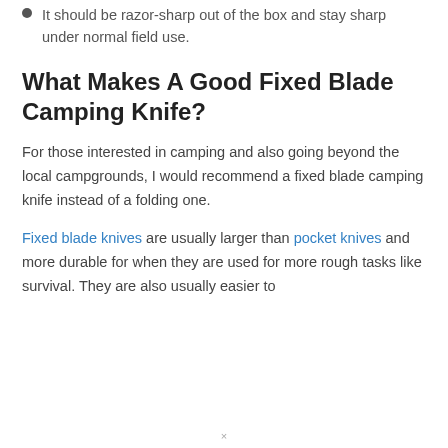It should be razor-sharp out of the box and stay sharp under normal field use.
What Makes A Good Fixed Blade Camping Knife?
For those interested in camping and also going beyond the local campgrounds, I would recommend a fixed blade camping knife instead of a folding one.
Fixed blade knives are usually larger than pocket knives and more durable for when they are used for more rough tasks like survival. They are also usually easier to